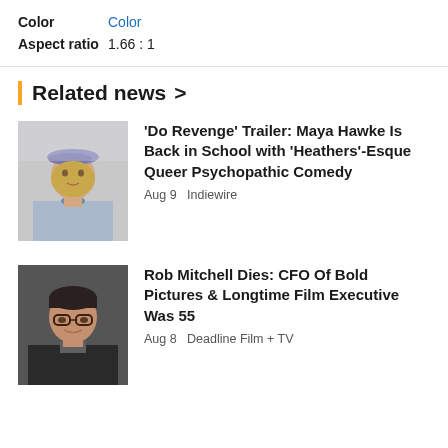Color  Color
Aspect ratio  1.66 : 1
Related news >
[Figure (photo): Woman wearing a blue beret and bow tie, blonde hair, in a period costume]
'Do Revenge' Trailer: Maya Hawke Is Back in School with 'Heathers'-Esque Queer Psychopathic Comedy
Aug 9  Indiewire
[Figure (photo): Man with short dark hair wearing glasses and a dark jacket, smiling]
Rob Mitchell Dies: CFO Of Bold Pictures & Longtime Film Executive Was 55
Aug 8  Deadline Film + TV